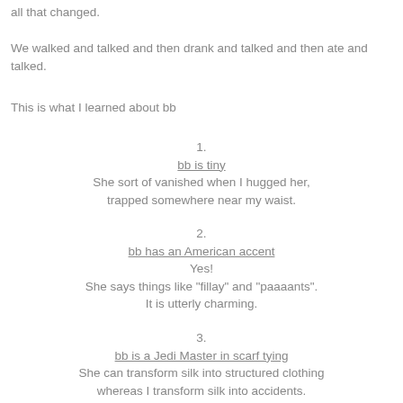all that changed.
We walked and talked and then drank and talked and then ate and talked.
This is what I learned about bb
1.
bb is tiny
She sort of vanished when I hugged her, trapped somewhere near my waist.
2.
bb has an American accent
Yes!
She says things like "fillay" and "paaaants".
It is utterly charming.
3.
bb is a Jedi Master in scarf tying
She can transform silk into structured clothing whereas I transform silk into accidents.